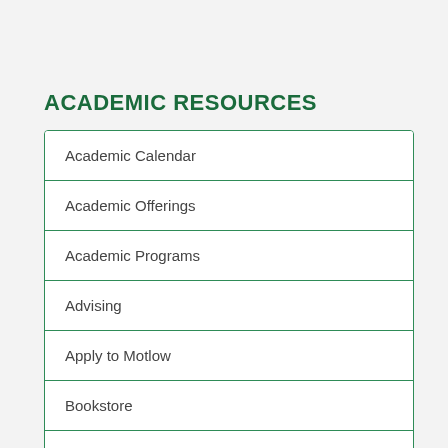ACADEMIC RESOURCES
Academic Calendar
Academic Offerings
Academic Programs
Advising
Apply to Motlow
Bookstore
Catalog and Student Handbook